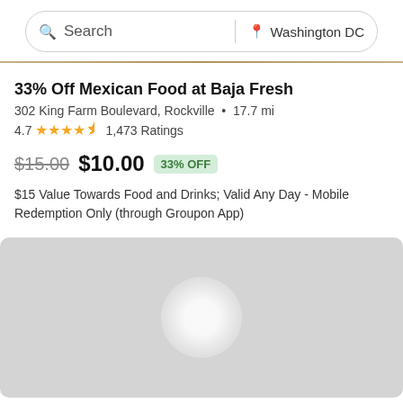[Figure (screenshot): Search bar with 'Search' on left and 'Washington DC' location on right, rounded pill shape]
33% Off Mexican Food at Baja Fresh
302 King Farm Boulevard, Rockville  •  17.7 mi
4.7 ★★★★½ 1,473 Ratings
$15.00  $10.00  33% OFF
$15 Value Towards Food and Drinks; Valid Any Day - Mobile Redemption Only (through Groupon App)
[Figure (photo): Gray placeholder image with a faint white circular gradient in the center, indicating an image loading state]